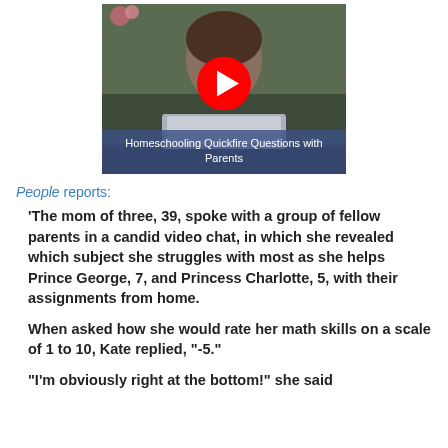[Figure (screenshot): YouTube video thumbnail showing a woman at a laptop with title 'Homeschooling Quickfire Questions with Parents' and a red play button]
People reports:
'The mom of three, 39, spoke with a group of fellow parents in a candid video chat, in which she revealed which subject she struggles with most as she helps Prince George, 7, and Princess Charlotte, 5, with their assignments from home.

When asked how she would rate her math skills on a scale of 1 to 10, Kate replied, "-5."

"I'm obviously right at the bottom!" she said